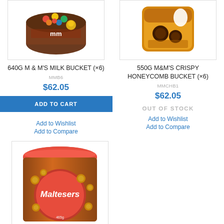[Figure (photo): 640G M&M's Milk Bucket product image]
640G M & M'S MILK BUCKET (×6)
MMB6
$62.05
ADD TO CART
Add to Wishlist
Add to Compare
[Figure (photo): 550G M&M's Crispy Honeycomb Bucket product image]
550G M&M'S CRISPY HONEYCOMB BUCKET (×6)
MMCHB1
$62.05
OUT OF STOCK
Add to Wishlist
Add to Compare
[Figure (photo): Maltesers bucket product image]